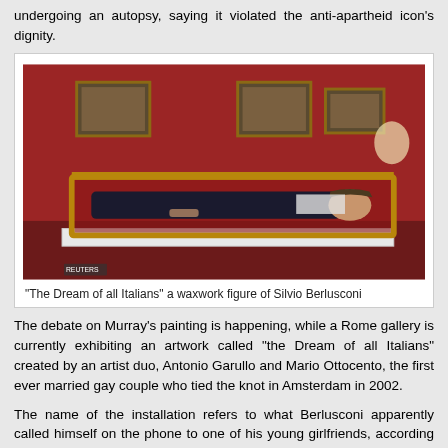undergoing an autopsy, saying it violated the anti-apartheid icon's dignity.
[Figure (photo): A waxwork figure of Silvio Berlusconi lying in a glass-topped gilt display case on a white plinth, in a room with red walls and framed paintings. The figure is dressed in dark clothing.]
"The Dream of all Italians" a waxwork figure of Silvio Berlusconi
The debate on Murray's painting is happening, while a Rome gallery is currently exhibiting an artwork called "the Dream of all Italians" created by an artist duo, Antonio Garullo and Mario Ottocento, the first ever married gay couple who tied the knot in Amsterdam in 2002.
The name of the installation refers to what Berlusconi apparently called himself on the phone to one of his young girlfriends, according to Italian media. Berlusconi's figure, lying on a red velvet carpet, is wearing giant Mickey Mouse...